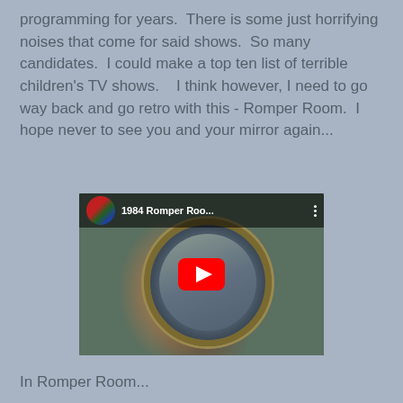programming for years.  There is some just horrifying noises that come for said shows.  So many candidates.  I could make a top ten list of terrible children's TV shows.    I think however, I need to go way back and go retro with this - Romper Room.  I hope never to see you and your mirror again...
[Figure (screenshot): YouTube video thumbnail/player showing '1984 Romper Roo...' with a child looking through a circular mirror ring, YouTube play button overlay, video thumbnail of group in top-left corner, and three-dot menu icon.]
In Romper Room...